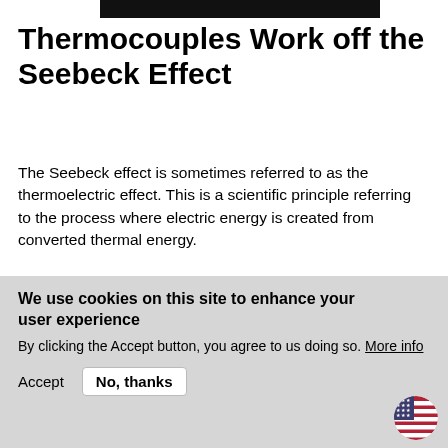Thermocouples Work off the Seebeck Effect
The Seebeck effect is sometimes referred to as the thermoelectric effect. This is a scientific principle referring to the process where electric energy is created from converted thermal energy.
The Seebeck effect details the electrical voltage that happens when two different conductors are connected. This produced voltage varies according to temperature.
Basic Design of Thermocouple
We use cookies on this site to enhance your user experience
By clicking the Accept button, you agree to us doing so. More info